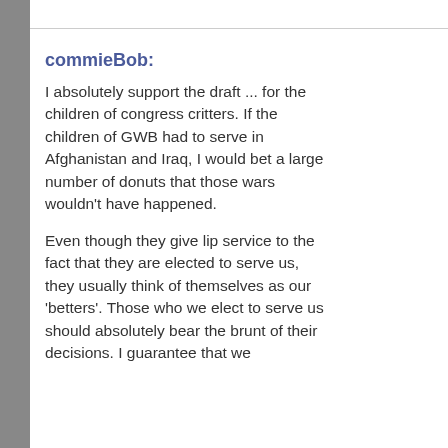commieBob:
I absolutely support the draft ... for the children of congress critters. If the children of GWB had to serve in Afghanistan and Iraq, I would bet a large number of donuts that those wars wouldn't have happened.
Even though they give lip service to the fact that they are elected to serve us, they usually think of themselves as our 'betters'. Those who we elect to serve us should absolutely bear the brunt of their decisions. I guarantee that we